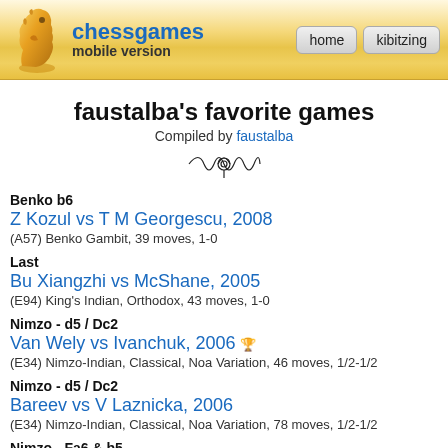chessgames mobile version | home | kibitzing
faustalba's favorite games
Compiled by faustalba
Benko b6
Z Kozul vs T M Georgescu, 2008
(A57) Benko Gambit, 39 moves, 1-0
Last
Bu Xiangzhi vs McShane, 2005
(E94) King's Indian, Orthodox, 43 moves, 1-0
Nimzo - d5 / Dc2
Van Wely vs Ivanchuk, 2006
(E34) Nimzo-Indian, Classical, Noa Variation, 46 moves, 1/2-1/2
Nimzo - d5 / Dc2
Bareev vs V Laznicka, 2006
(E34) Nimzo-Indian, Classical, Noa Variation, 78 moves, 1/2-1/2
Nimzo - Fa6 & b5